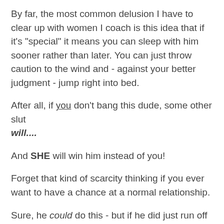By far, the most common delusion I have to clear up with women I coach is this idea that if it's "special" it means you can sleep with him sooner rather than later. You can just throw caution to the wind and - against your better judgment - jump right into bed.
After all, if you don't bang this dude, some other slut will....
And SHE will win him instead of you!
Forget that kind of scarcity thinking if you ever want to have a chance at a normal relationship.
Sure, he could do this - but if he did just run off with the first easy lay, he was never the kind of guy you could ever trust or have a connected relationship